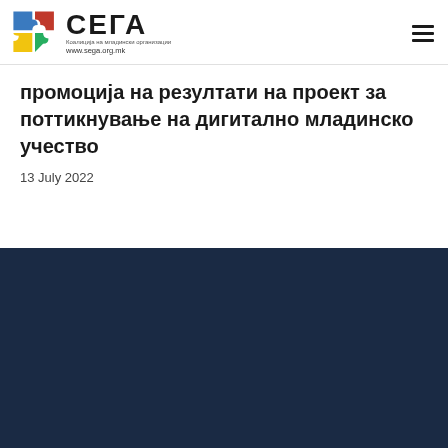СЕГА – Коалиција на младински организации – www.sega.org.mk
промоција на резултати на проект за поттикнување на дигитално младинско учество
13 July 2022
[Figure (logo): СЕГА logo with puzzle pieces and text 'Коалиција на младински организации' on dark blue background]